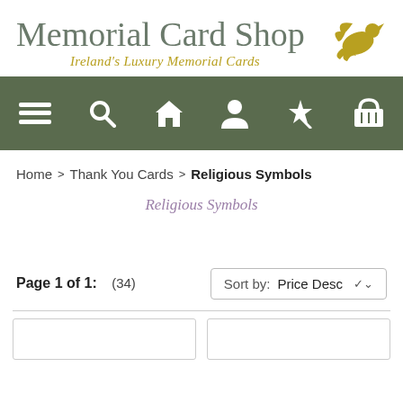[Figure (logo): Memorial Card Shop logo with grey serif text and gold italic tagline 'Ireland's Luxury Memorial Cards', with a gold bird/dove illustration on the right]
[Figure (infographic): Dark olive green navigation bar with 6 white icons: hamburger menu, search, home, user/person, magic wand/star, shopping basket]
Home > Thank You Cards > Religious Symbols
Religious Symbols
Page 1 of 1: (34)   Sort by: Price Desc